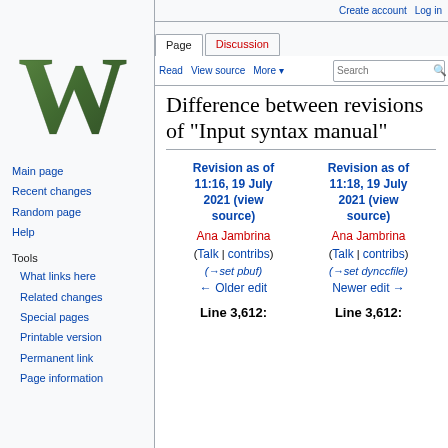Create account  Log in
[Figure (logo): Wikipedia logo — large stylized green and black W]
Page  Discussion
Read  View source  More  Search
Difference between revisions of "Input syntax manual"
| Revision as of 11:16, 19 July 2021 (view source) | Revision as of 11:18, 19 July 2021 (view source) |
| --- | --- |
| Ana Jambrina | Ana Jambrina |
| (Talk | contribs) | (Talk | contribs) |
| (→set pbuf) | (→set dynccfile) |
| ← Older edit | Newer edit → |
| Line 3,612: | Line 3,612: |
Main page
Recent changes
Random page
Help
Tools
What links here
Related changes
Special pages
Printable version
Permanent link
Page information